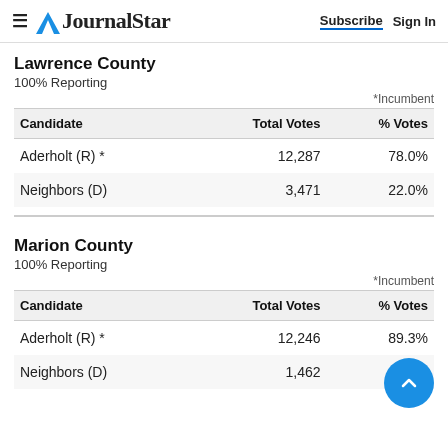JournalStar  Subscribe  Sign In
Lawrence County
100% Reporting
*Incumbent
| Candidate | Total Votes | % Votes |
| --- | --- | --- |
| Aderholt (R) * | 12,287 | 78.0% |
| Neighbors (D) | 3,471 | 22.0% |
Marion County
100% Reporting
*Incumbent
| Candidate | Total Votes | % Votes |
| --- | --- | --- |
| Aderholt (R) * | 12,246 | 89.3% |
| Neighbors (D) | 1,462 | 10.7% |